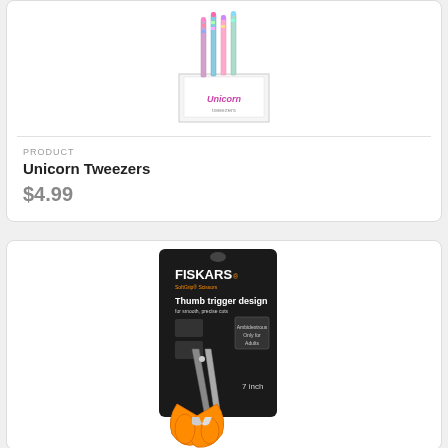[Figure (photo): Product photo of Unicorn Tweezers in a retail display box with colorful unicorn-themed packaging]
PRODUCT
Unicorn Tweezers
$4.99
[Figure (photo): Product photo of Fiskars scissors in black retail packaging with orange handle scissors, labeled 'Thumb trigger design', 7 inch]